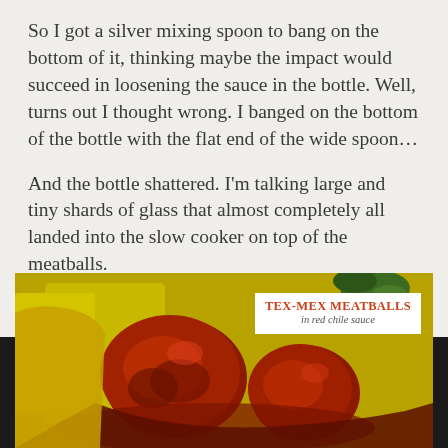So I got a silver mixing spoon to bang on the bottom of it, thinking maybe the impact would succeed in loosening the sauce in the bottle. Well, turns out I thought wrong. I banged on the bottom of the bottle with the flat end of the wide spoon…
And the bottle shattered. I'm talking large and tiny shards of glass that almost completely all landed into the slow cooker on top of the meatballs.
Guys. I was do disappointed I could've cried.
[Figure (photo): Close-up photo of Tex-Mex meatballs in red chile sauce, with a yellow background and green garnish. A white label overlay reads 'TEX-MEX MEATBALLS in red chile sauce' in the upper right corner.]